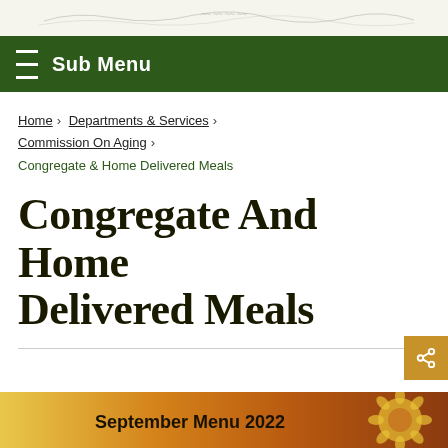≡ Sub Menu
Home › Departments & Services › Commission On Aging › Congregate & Home Delivered Meals
Congregate And Home Delivered Meals
[Figure (other): Share button icon]
[Figure (other): September Menu 2022 banner with sunflower imagery]